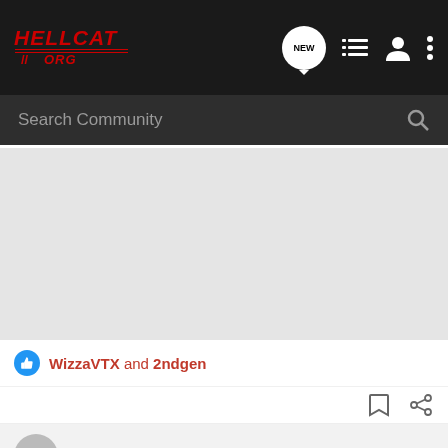[Figure (screenshot): Hellcat.org forum website screenshot showing navigation bar with logo, search bar, content image area, reaction bar with WizzaVTX and 2ndgen likes, action icons, and Maxwell user row at bottom]
Search Community
WizzaVTX and 2ndgen
Maxwell  Registered